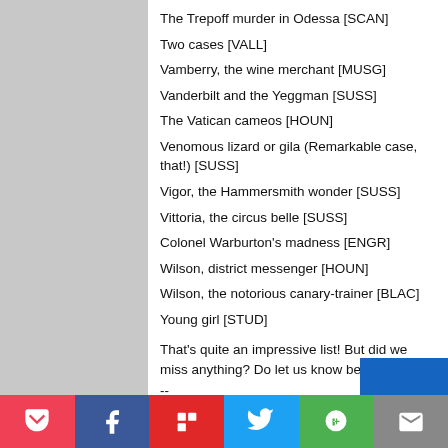The Trepoff murder in Odessa [SCAN]
Two cases [VALL]
Vamberry, the wine merchant [MUSG]
Vanderbilt and the Yeggman [SUSS]
The Vatican cameos [HOUN]
Venomous lizard or gila (Remarkable case, that!) [SUSS]
Vigor, the Hammersmith wonder [SUSS]
Vittoria, the circus belle [SUSS]
Colonel Warburton's madness [ENGR]
Wilson, district messenger [HOUN]
Wilson, the notorious canary-trainer [BLAC]
Young girl [STUD]
That's quite an impressive list! But did we miss anything? Do let us know below.
--